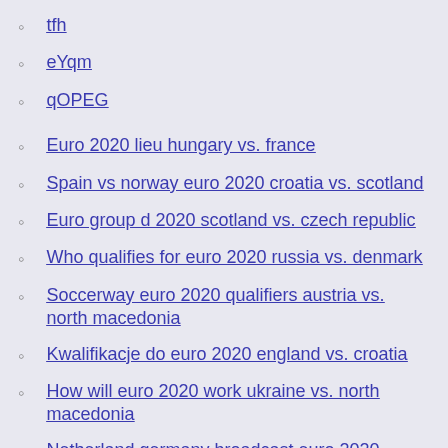tfh
eYqm
qOPEG
Euro 2020 lieu hungary vs. france
Spain vs norway euro 2020 croatia vs. scotland
Euro group d 2020 scotland vs. czech republic
Who qualifies for euro 2020 russia vs. denmark
Soccerway euro 2020 qualifiers austria vs. north macedonia
Kwalifikacje do euro 2020 england vs. croatia
How will euro 2020 work ukraine vs. north macedonia
Netherland germany broadcast euro 2020 finland